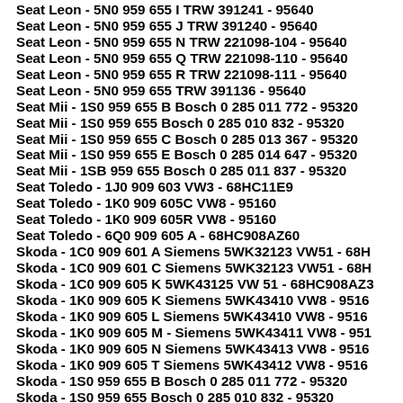Seat Leon - 5N0 959 655 I TRW 391241 - 95640
Seat Leon - 5N0 959 655 J TRW 391240 - 95640
Seat Leon - 5N0 959 655 N TRW 221098-104 - 95640
Seat Leon - 5N0 959 655 Q TRW 221098-110 - 95640
Seat Leon - 5N0 959 655 R TRW 221098-111 - 95640
Seat Leon - 5N0 959 655 TRW 391136 - 95640
Seat Mii - 1S0 959 655 B Bosch 0 285 011 772 - 95320
Seat Mii - 1S0 959 655 Bosch 0 285 010 832 - 95320
Seat Mii - 1S0 959 655 C Bosch 0 285 013 367 - 95320
Seat Mii - 1S0 959 655 E Bosch 0 285 014 647 - 95320
Seat Mii - 1SB 959 655 Bosch 0 285 011 837 - 95320
Seat Toledo - 1J0 909 603 VW3 - 68HC11E9
Seat Toledo - 1K0 909 605C VW8 - 95160
Seat Toledo - 1K0 909 605R VW8 - 95160
Seat Toledo - 6Q0 909 605 A - 68HC908AZ60
Skoda - 1C0 909 601 A Siemens 5WK32123 VW51 - 68H
Skoda - 1C0 909 601 C Siemens 5WK32123 VW51 - 68H
Skoda - 1C0 909 605 K 5WK43125 VW 51 - 68HC908AZ3
Skoda - 1K0 909 605 K Siemens 5WK43410 VW8 - 9516
Skoda - 1K0 909 605 L Siemens 5WK43410 VW8 - 9516
Skoda - 1K0 909 605 M - Siemens 5WK43411 VW8 - 951
Skoda - 1K0 909 605 N Siemens 5WK43413 VW8 - 9516
Skoda - 1K0 909 605 T Siemens 5WK43412 VW8 - 9516
Skoda - 1S0 959 655 B Bosch 0 285 011 772 - 95320
Skoda - 1S0 959 655 Bosch 0 285 010 832 - 95320
Skoda - 1S0 959 655 C Bosch 0 285 013 367 - 95320